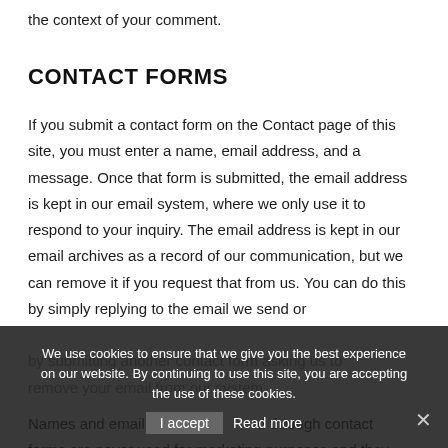the context of your comment.
CONTACT FORMS
If you submit a contact form on the Contact page of this site, you must enter a name, email address, and a message. Once that form is submitted, the email address is kept in our email system, where we only use it to respond to your inquiry. The email address is kept in our email archives as a record of our communication, but we can remove it if you request that from us. You can do this by simply replying to the email we send or by submitting another contact form asking us to remove your email from our system.
Names and email addresses collected through contact forms are never used for marketing purposes and they
We use cookies to ensure that we give you the best experience on our website. By continuing to use this site, you are accepting the use of these cookies.